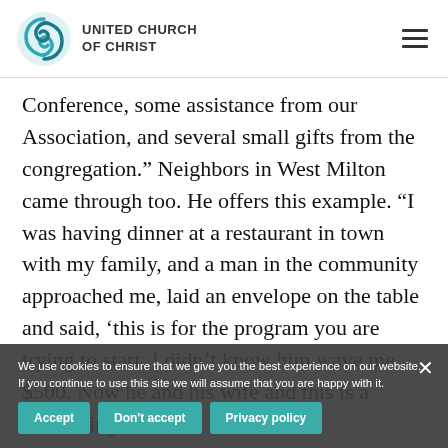UNITED CHURCH OF CHRIST
Conference, some assistance from our Association, and several small gifts from the congregation.” Neighbors in West Milton came through too. He offers this example. “I was having dinner at a restaurant in town with my family, and a man in the community approached me, laid an envelope on the table and said, ‘this is for the program you are trying to start. I didn’t know him was gave me $500. Now he and his wife and this is a Made or coming
We use cookies to ensure that we give you the best experience on our website. If you continue to use this site we will assume that you are happy with it.